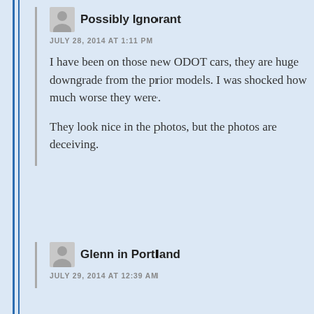Possibly Ignorant
JULY 28, 2014 AT 1:11 PM
I have been on those new ODOT cars, they are huge downgrade from the prior models. I was shocked how much worse they were.
They look nice in the photos, but the photos are deceiving.
Glenn in Portland
JULY 29, 2014 AT 12:39 AM